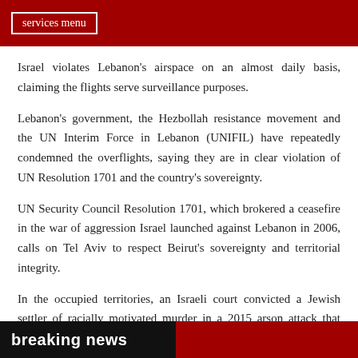services menu
Israel violates Lebanon's airspace on an almost daily basis, claiming the flights serve surveillance purposes.
Lebanon's government, the Hezbollah resistance movement and the UN Interim Force in Lebanon (UNIFIL) have repeatedly condemned the overflights, saying they are in clear violation of UN Resolution 1701 and the country's sovereignty.
UN Security Council Resolution 1701, which brokered a ceasefire in the war of aggression Israel launched against Lebanon in 2006, calls on Tel Aviv to respect Beirut's sovereignty and territorial integrity.
In the occupied territories, an Israeli court convicted a Jewish settler of racially motivated murder in a 2015 arson attack that claimed the lives of a Palestinian couple and their baby in the
breaking news